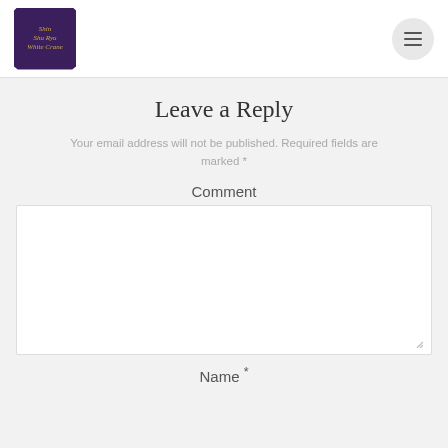Shin Shu Ryu White Crane
Leave a Reply
Your email address will not be published. Required fields are marked *
Comment
Name *